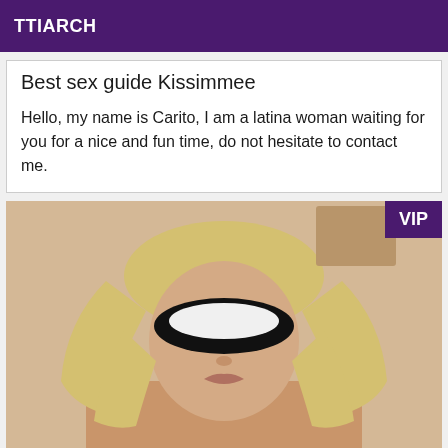TTIARCH
Best sex guide Kissimmee
Hello, my name is Carito, I am a latina woman waiting for you for a nice and fun time, do not hesitate to contact me.
[Figure (photo): Photo of a blonde woman with face obscured by a black oval censor bar, shown from shoulders up, with long wavy blonde hair. A purple VIP badge appears in the top-right corner of the image.]